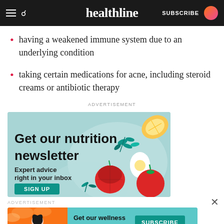healthline — SUBSCRIBE
having a weakened immune system due to an underlying condition
taking certain medications for acne, including steroid creams or antibiotic therapy
ADVERTISEMENT
[Figure (illustration): Healthline nutrition newsletter advertisement banner with food illustrations (lemon, leafy greens, egg, tomatoes) on teal background. Text: Get our nutrition newsletter. Expert advice right in your inbox. SIGN UP button.]
ADVERTISEMENT
[Figure (illustration): Healthline wellness newsletter advertisement banner with woman illustration on orange/red background. Text: Get our wellness newsletter. SUBSCRIBE button.]